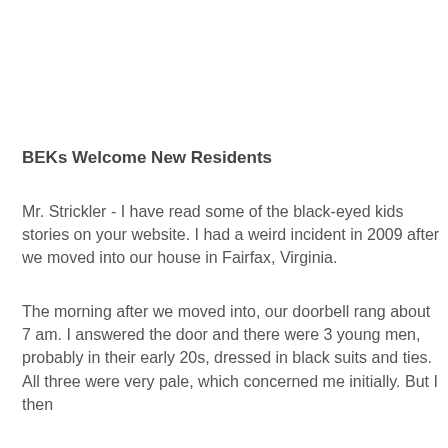BEKs Welcome New Residents
Mr. Strickler - I have read some of the black-eyed kids stories on your website. I had a weird incident in 2009 after we moved into our house in Fairfax, Virginia.
The morning after we moved into, our doorbell rang about 7 am. I answered the door and there were 3 young men, probably in their early 20s, dressed in black suits and ties. All three were very pale, which concerned me initially. But I then